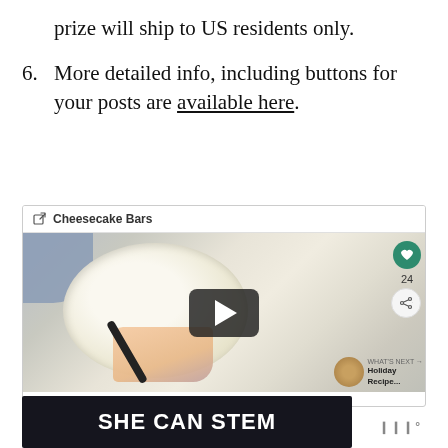prize will ship to US residents only.
6. More detailed info, including buttons for your posts are available here.
[Figure (screenshot): Screenshot of a Cheesecake Bars video post showing a bowl of cream cheese batter being mixed, with a play button overlay, heart/like button showing 24 likes, share button, and a 'What's Next' preview for Holiday Recipe...]
[Figure (other): SHE CAN STEM advertisement banner in dark background with white bold text, and a logo to the right]